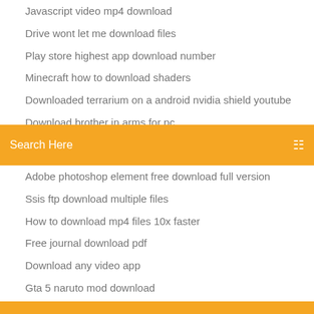Javascript video mp4 download
Drive wont let me download files
Play store highest app download number
Minecraft how to download shaders
Downloaded terrarium on a android nvidia shield youtube
Download brother in arms for pc
[Figure (screenshot): Orange/yellow search bar with text 'Search Here' and a menu icon on the right]
Adobe photoshop element free download full version
Ssis ftp download multiple files
How to download mp4 files 10x faster
Free journal download pdf
Download any video app
Gta 5 naruto mod download
Yes player download pc
Standalone file schedule and download
Pokemon oras save file download